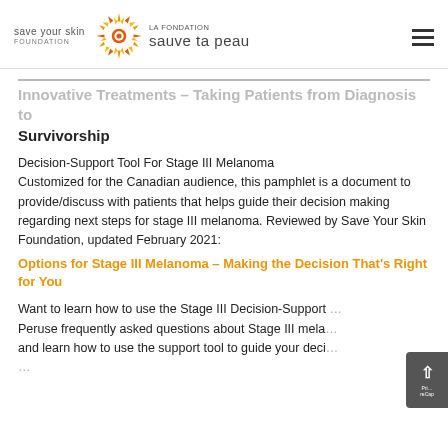Save Your Skin Foundation / La Fondation Sauve ta Peau
Innovative Treatments – Taking Patients from Diagnosis to Survivorship
Decision-Support Tool For Stage III Melanoma Customized for the Canadian audience, this pamphlet is a document to provide/discuss with patients that helps guide their decision making regarding next steps for stage III melanoma. Reviewed by Save Your Skin Foundation, updated February 2021:
Options for Stage III Melanoma – Making the Decision That's Right for You
Want to learn how to use the Stage III Decision-Support Tool? Peruse frequently asked questions about Stage III melanoma and learn how to use the support tool to guide your decision making. Also learn how to collaborate with Save Your Skin...